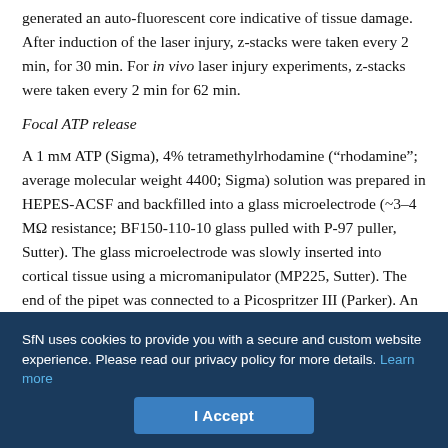generated an auto-fluorescent core indicative of tissue damage. After induction of the laser injury, z-stacks were taken every 2 min, for 30 min. For in vivo laser injury experiments, z-stacks were taken every 2 min for 62 min.
Focal ATP release
A 1 mM ATP (Sigma), 4% tetramethylrhodamine ("rhodamine"; average molecular weight 4400; Sigma) solution was prepared in HEPES-ACSF and backfilled into a glass microelectrode (~3–4 MΩ resistance; BF150-110-10 glass pulled with P-97 puller, Sutter). The glass microelectrode was slowly inserted into cortical tissue using a micromanipulator (MP225, Sutter). The end of the pipet was connected to a Picospritzer III (Parker). An initial z-stack was obtained, then a pressure pulse (100 ms, 15 psi) released ATP onto
SfN uses cookies to provide you with a secure and custom website experience. Please read our privacy policy for more details. Learn more
I Accept